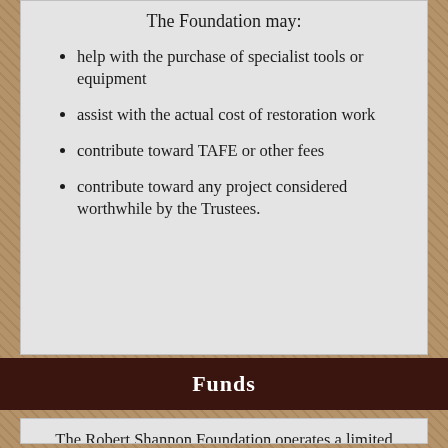The Foundation may:
help with the purchase of specialist tools or equipment
assist with the actual cost of restoration work
contribute toward TAFE or other fees
contribute toward any project considered worthwhile by the Trustees.
Funds
The Robert Shannon Foundation operates a limited funds account to finance these grants. Essentially the funds are invested